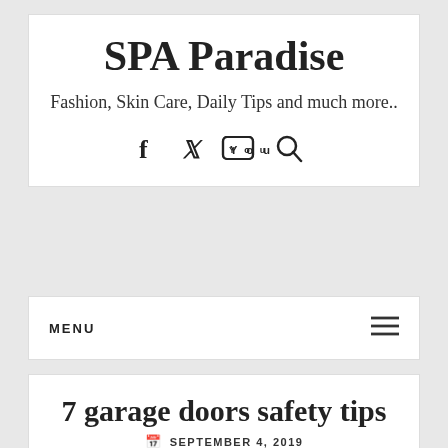SPA Paradise
Fashion, Skin Care, Daily Tips and much more..
[Figure (infographic): Social media icons: Facebook, Twitter, YouTube, Search]
MENU
7 garage doors safety tips
SEPTEMBER 4, 2019 / ADMIN / HOME IMPROVEMENT